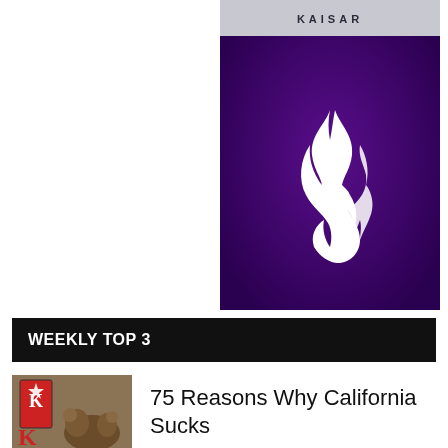[Figure (illustration): Album cover for KAISAR: dark purple/violet background with a white flame logo in the center, and a light gray banner at the top with the text KAISAR in spaced capital letters]
WEEKLY TOP 3
[Figure (illustration): Small thumbnail image of a book cover with a playing card (King) and a bear, partially visible at bottom left]
75 Reasons Why California Sucks